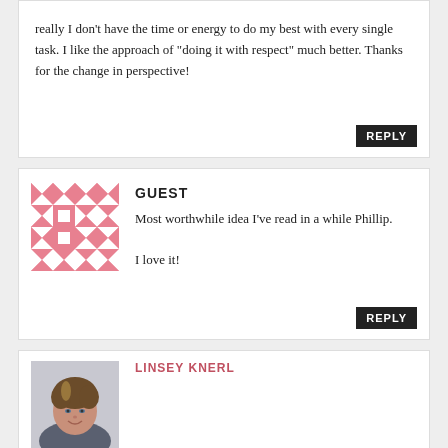really I don't have the time or energy to do my best with every single task. I like the approach of "doing it with respect" much better. Thanks for the change in perspective!
REPLY
GUEST
Most worthwhile idea I've read in a while Phillip.

I love it!
REPLY
[Figure (photo): Profile photo of Linsey Knerl, a woman with brown hair smiling]
LINSEY KNERL
Parenting a small tribe is similar.  There are days when I don't do my best... (like when I'm sick, they're sick, there's a full moon, etc.)  There are also days when parenting is obviously worth doing, but that particular day isn't going